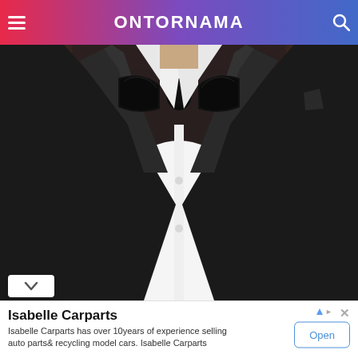ONTORNAMA
[Figure (photo): Close-up photo of a person wearing a black tuxedo jacket with satin lapels, white dress shirt, and a black bow tie. Only the torso is visible, no face shown.]
Isabelle Carparts
Isabelle Carparts has over 10years of experience selling auto parts& recycling model cars. Isabelle Carparts